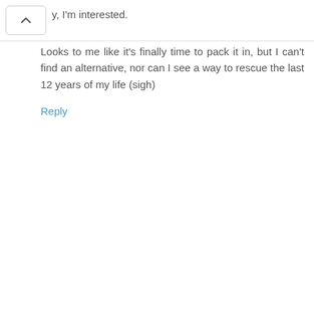y, I'm interested.
Looks to me like it's finally time to pack it in, but I can't find an alternative, nor can I see a way to rescue the last 12 years of my life (sigh)
Reply